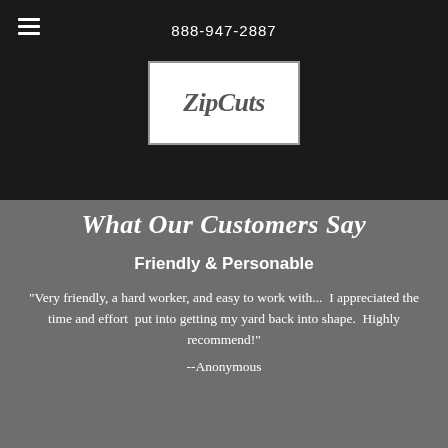888-947-2887
[Figure (logo): ZipCuts logo — italic bold text in grey on white background with border]
What Our Customers Say
Friendly & Personable
"Very friendly, a hard worker, and easy to work with...  I appreciated the time and effort  put into getting my yard back into shape.  Highly recommend!"
--Anonymous